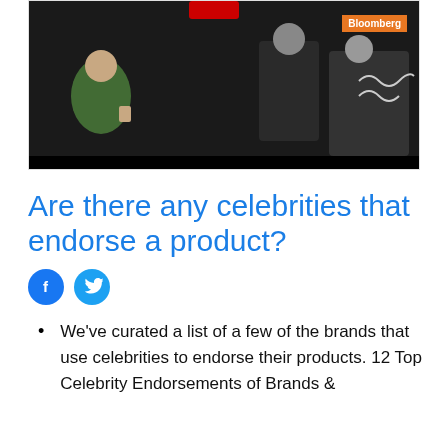[Figure (screenshot): Bloomberg video thumbnail showing people at an event, with Bloomberg orange badge in top right corner]
Are there any celebrities that endorse a product?
[Figure (other): Social media share icons: Facebook (blue circle with f) and Twitter (blue circle with bird)]
We've curated a list of a few of the brands that use celebrities to endorse their products. 12 Top Celebrity Endorsements of Brands &